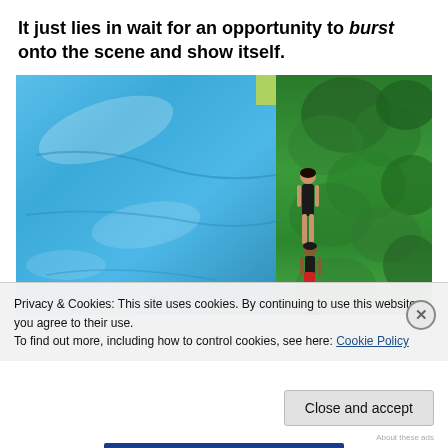It just lies in wait for an opportunity to burst onto the scene and show itself.
[Figure (photo): Aerial/overhead view of children near a blue water slip-and-slide tarp on green grass. Left half shows blue wet tarp with water reflections; right half shows lush green trees/grass. Two children visible at the boundary.]
Privacy & Cookies: This site uses cookies. By continuing to use this website, you agree to their use.
To find out more, including how to control cookies, see here: Cookie Policy
Close and accept